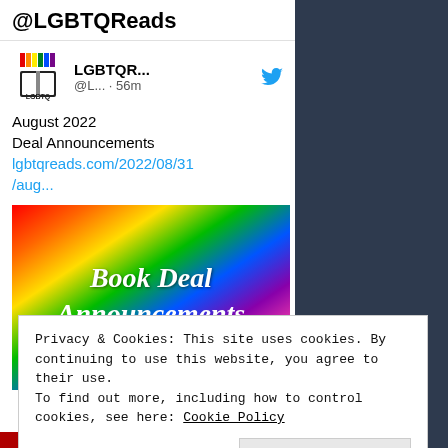@LGBTQReads
[Figure (screenshot): Tweet from LGBTQR... @L... · 56m with Twitter bird icon and LGBTQ Reads logo]
August 2022
Deal Announcements
lgbtqreads.com/2022/08/31/aug...
[Figure (illustration): Rainbow gradient banner image with text 'Book Deal Announcements' in white bold italic font]
Privacy & Cookies: This site uses cookies. By continuing to use this website, you agree to their use.
To find out more, including how to control cookies, see here: Cookie Policy
Close and accept